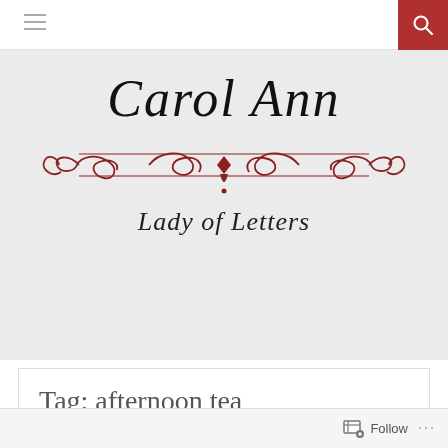Carol Ann — Lady of Letters (blog header with navigation)
Carol Ann
[Figure (illustration): Decorative dark red ornamental divider with scrollwork and flourishes]
Lady of Letters
Tag: afternoon tea
Follow ...